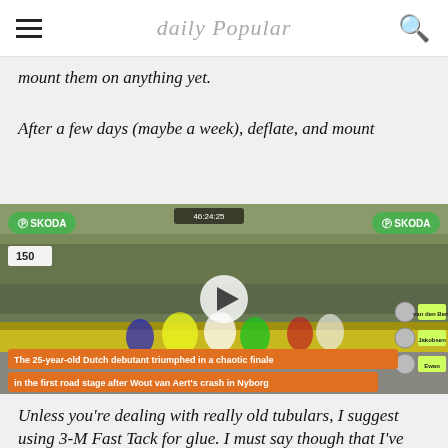daily Popular
mount them on anything yet.
After a few days (maybe a week), deflate, and mount
[Figure (photo): Video thumbnail of a cycling race sprint finish with SKODA branding, leaderboard overlay, and orange caption bars reading 'The 25-year-old Dutch debutant triumphed in a chaotic finale in the first road stage after Wout van Aert's crash in Nyborg']
Unless you're dealing with really old tubulars, I suggest using 3-M Fast Tack for glue. I must say though that I've heard that Fast-Tack can cause the base tape on older tubulars to separate from the tires. I had a pair of old